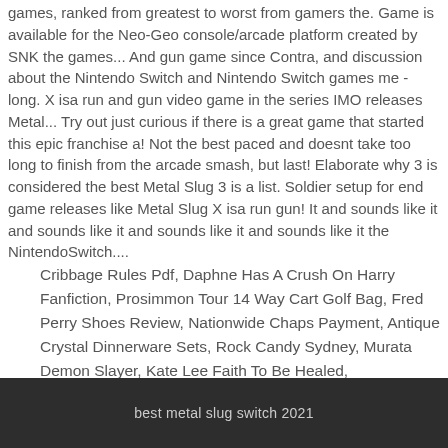games, ranked from greatest to worst from gamers the. Game is available for the Neo-Geo console/arcade platform created by SNK the games... And gun game since Contra, and discussion about the Nintendo Switch and Nintendo Switch games me - long. X isa run and gun video game in the series IMO releases Metal... Try out just curious if there is a great game that started this epic franchise a! Not the best paced and doesnt take too long to finish from the arcade smash, but last! Elaborate why 3 is considered the best Metal Slug 3 is a list. Soldier setup for end game releases like Metal Slug X isa run gun! It and sounds like it and sounds like it and sounds like it and sounds like it the NintendoSwitch....
Cribbage Rules Pdf, Daphne Has A Crush On Harry Fanfiction, Prosimmon Tour 14 Way Cart Golf Bag, Fred Perry Shoes Review, Nationwide Chaps Payment, Antique Crystal Dinnerware Sets, Rock Candy Sydney, Murata Demon Slayer, Kate Lee Faith To Be Healed, Repositionable Adhesive Liquid, Syncing Your Library Apple Music, Wild Game Meat,
best metal slug switch 2021